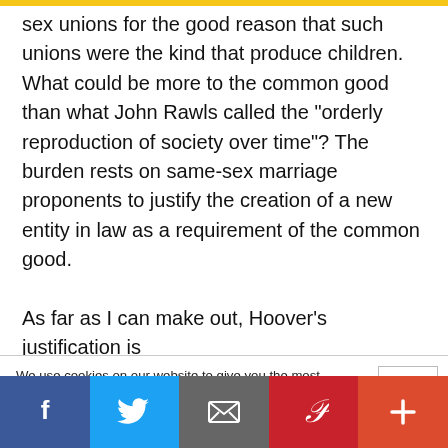sex unions for the good reason that such unions were the kind that produce children. What could be more to the common good than what John Rawls called the “orderly reproduction of society over time”? The burden rests on same-sex marriage proponents to justify the creation of a new entity in law as a requirement of the common good.

As far as I can make out, Hoover’s justification is
We use cookies on our website to give you the most relevant experience by remembering your preferences and repeat visits. By clicking “Accept All”, you consent to the use of ALL the cookies. However, you may visit "Cookie Settings" to provide a controlled consent.
[Figure (other): Social media share bar with Facebook, Twitter, Email, Pinterest, and Plus buttons]